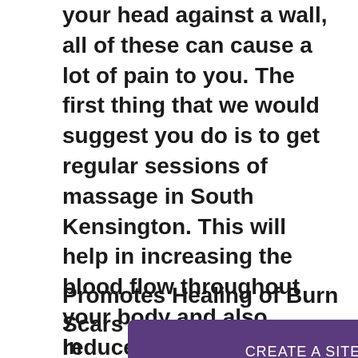your head against a wall, all of these can cause a lot of pain to you. The first thing that we would suggest you do is to get regular sessions of massage in South Kensington. This will help in increasing the blood flow throughout your body and also reduce inflammation. Not only this, but it will also help in flushing the toxins out of your muscles which help in healing the injury.
Promotes Healing of Burn Scars
In a … n patie… t did
[Figure (other): Purple banner overlay reading 'CREATE A SITE WITH strikingly' with strikingly in bold italic]